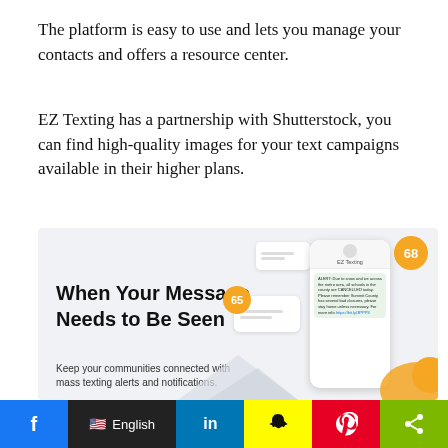The platform is easy to use and lets you manage your contacts and offers a resource center.
EZ Texting has a partnership with Shutterstock, you can find high-quality images for your text campaigns available in their higher plans.
[Figure (screenshot): EZ Texting promotional image showing phone mockup with message bubbles and text 'When Your Message Needs to Be Seen. Keep your communities connected with mass texting alerts and notifications.']
f  English  in  [Snapchat]  [Pinterest]  [Share]